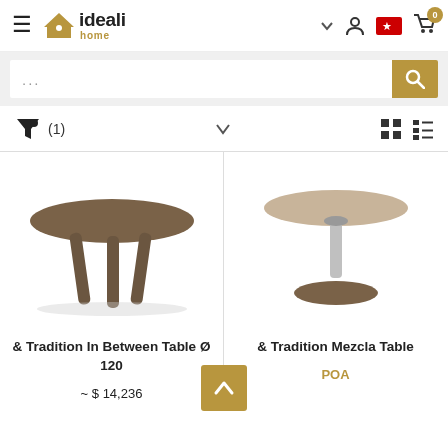[Figure (screenshot): Ideali Home e-commerce website header with hamburger menu, logo, search icon, flag, and cart icon with badge 0]
[Figure (screenshot): Search bar with ellipsis placeholder text and gold search button]
[Figure (screenshot): Filter bar showing filter icon, (1) filter count, dropdown chevron, grid view and list view icons]
[Figure (photo): & Tradition In Between Table Ø 120 - round wooden table with three legs, dark walnut finish]
& Tradition In Between Table Ø 120
~ $ 14,236
[Figure (photo): & Tradition Mezcla Table - round table with metallic pedestal base, light wood top]
& Tradition Mezcla Table
POA